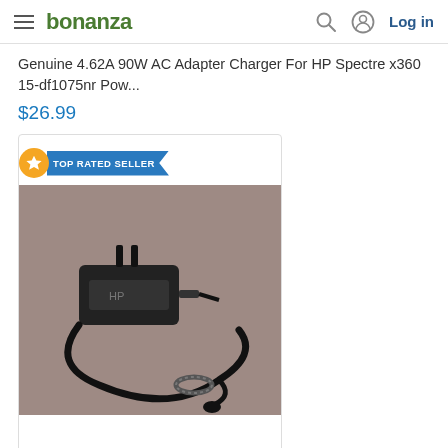bonanza — Log in
Genuine 4.62A 90W AC Adapter Charger For HP Spectre x360 15-df1075nr Pow...
$26.99
[Figure (photo): Photo of HP AC adapter/charger with cable coiled, on a brown/mauve background. Badge showing TOP RATED SELLER overlaid in top-left corner of product card.]
HP PPP009H - Charger - 18.5V DC 3.5A
$17.74